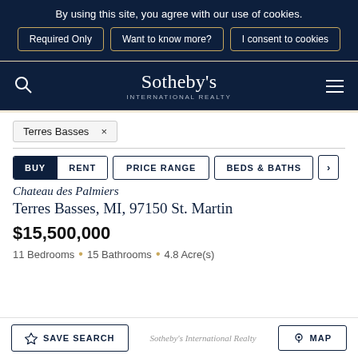By using this site, you agree with our use of cookies.
Required Only | Want to know more? | I consent to cookies
[Figure (logo): Sotheby's International Realty logo with search icon and hamburger menu on dark navy background]
Terres Basses x
BUY  RENT  PRICE RANGE  BEDS & BATHS
Chateau des Palmiers
Terres Basses, MI, 97150 St. Martin
$15,500,000
11 Bedrooms • 15 Bathrooms • 4.8 Acre(s)
SAVE SEARCH  Sotheby's International Realty  MAP